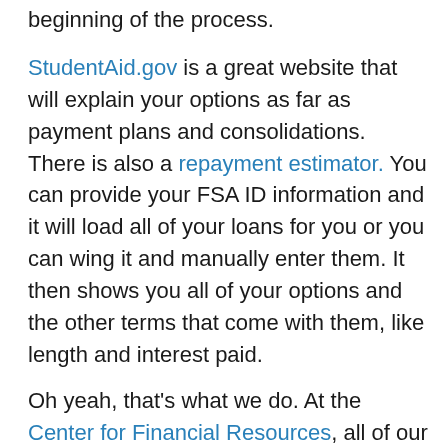beginning of the process.
StudentAid.gov is a great website that will explain your options as far as payment plans and consolidations. There is also a repayment estimator. You can provide your FSA ID information and it will load all of your loans for you or you can wing it and manually enter them. It then shows you all of your options and the other terms that come with them, like length and interest paid.
Oh yeah, that's what we do. At the Center for Financial Resources, all of our counselors are certified student loan counselors. We can help you figure out what you have, what you owe, and what might be the best option based on your own unique situation. You can schedule that appointment by going to our website or calling is at 605-330-2700.